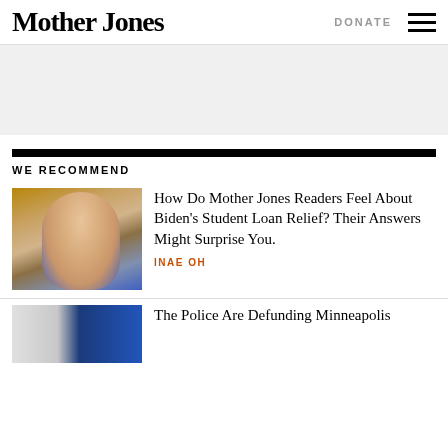Mother Jones
[Figure (other): Gray advertisement banner area]
WE RECOMMEND
[Figure (photo): Photo of President Biden in blue suit speaking at a podium]
How Do Mother Jones Readers Feel About Biden's Student Loan Relief? Their Answers Might Surprise You.
INAE OH
[Figure (photo): Split photo: black and white trees on left, blue-toned photo on right]
The Police Are Defunding Minneapolis